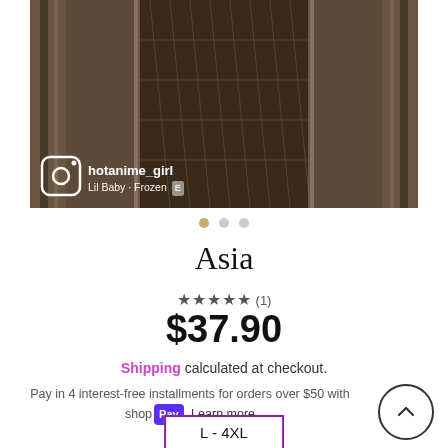[Figure (photo): Product photo showing fishnet stockings in an elevator-like setting with Instagram overlay showing username hotanime_girl and song Lil Baby - Frozen]
hotanime_girl
Lil Baby · Frozen
Asia
★★★★★ (1)
$37.90
Shipping calculated at checkout.
Pay in 4 interest-free installments for orders over $50 with shop Pay Learn more
L - 4XL